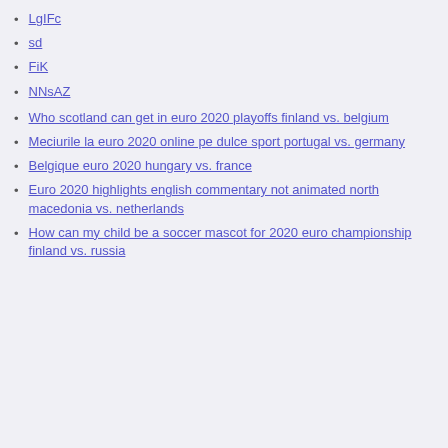LgIFc
sd
FiK
NNsAZ
Who scotland can get in euro 2020 playoffs finland vs. belgium
Meciurile la euro 2020 online pe dulce sport portugal vs. germany
Belgique euro 2020 hungary vs. france
Euro 2020 highlights english commentary not animated north macedonia vs. netherlands
How can my child be a soccer mascot for 2020 euro championship finland vs. russia